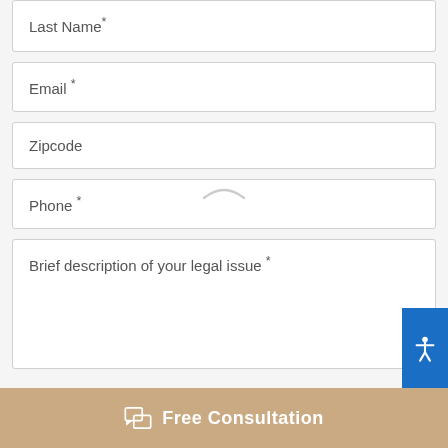Last Name*
Email *
Zipcode
Phone *
Brief description of your legal issue *
Free Consultation